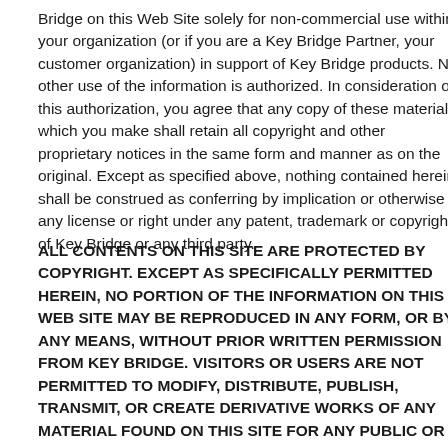Bridge on this Web Site solely for non-commercial use within your organization (or if you are a Key Bridge Partner, your customer organization) in support of Key Bridge products. No other use of the information is authorized. In consideration of this authorization, you agree that any copy of these materials which you make shall retain all copyright and other proprietary notices in the same form and manner as on the original. Except as specified above, nothing contained herein shall be construed as conferring by implication or otherwise any license or right under any patent, trademark or copyright of Key Bridge or any third party.
ALL CONTENTS ON THIS SITE ARE PROTECTED BY COPYRIGHT. EXCEPT AS SPECIFICALLY PERMITTED HEREIN, NO PORTION OF THE INFORMATION ON THIS WEB SITE MAY BE REPRODUCED IN ANY FORM, OR BY ANY MEANS, WITHOUT PRIOR WRITTEN PERMISSION FROM KEY BRIDGE. VISITORS OR USERS ARE NOT PERMITTED TO MODIFY, DISTRIBUTE, PUBLISH, TRANSMIT, OR CREATE DERIVATIVE WORKS OF ANY MATERIAL FOUND ON THIS SITE FOR ANY PUBLIC OR COMMERCIAL PURPOSES.